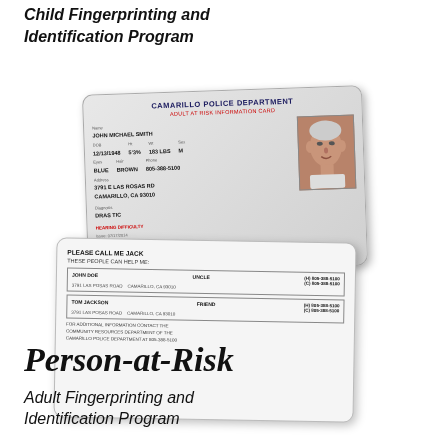Child Fingerprinting and Identification Program
[Figure (photo): Two Camarillo Police Department identification cards — one front-facing Adult at Risk Information Card showing name John Michael Smith, photo, DOB, and personal details; one back-facing card showing emergency contacts John Doe (Uncle) and Tom Jackson (Friend) with addresses and phone numbers.]
Person-at-Risk
Adult Fingerprinting and Identification Program